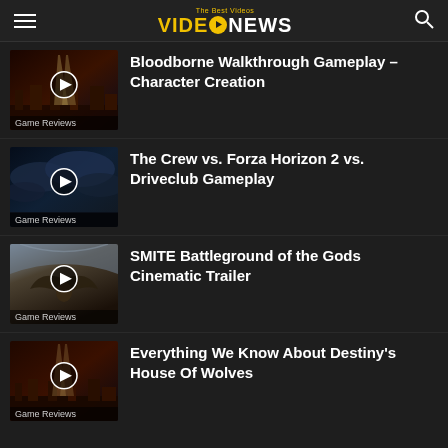VIDEONEWS - The Best Videos
Bloodborne Walkthrough Gameplay – Character Creation | Game Reviews
The Crew vs. Forza Horizon 2 vs. Driveclub Gameplay | Game Reviews
SMITE Battleground of the Gods Cinematic Trailer | Game Reviews
Everything We Know About Destiny's House Of Wolves | Game Reviews